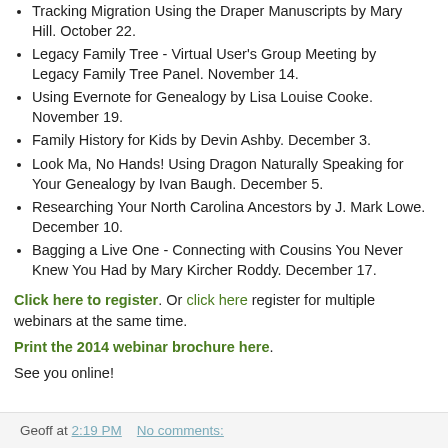Tracking Migration Using the Draper Manuscripts by Mary Hill. October 22.
Legacy Family Tree - Virtual User's Group Meeting by Legacy Family Tree Panel. November 14.
Using Evernote for Genealogy by Lisa Louise Cooke. November 19.
Family History for Kids by Devin Ashby. December 3.
Look Ma, No Hands! Using Dragon Naturally Speaking for Your Genealogy by Ivan Baugh. December 5.
Researching Your North Carolina Ancestors by J. Mark Lowe. December 10.
Bagging a Live One - Connecting with Cousins You Never Knew You Had by Mary Kircher Roddy. December 17.
Click here to register. Or click here register for multiple webinars at the same time.
Print the 2014 webinar brochure here.
See you online!
Geoff at 2:19 PM   No comments: